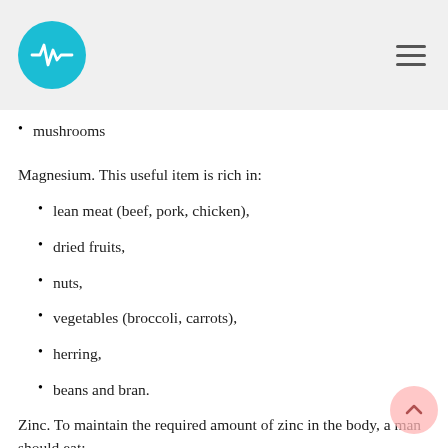Health logo and navigation
mushrooms
Magnesium. This useful item is rich in:
lean meat (beef, pork, chicken),
dried fruits,
nuts,
vegetables (broccoli, carrots),
herring,
beans and bran.
Zinc. To maintain the required amount of zinc in the body, a man should eat: